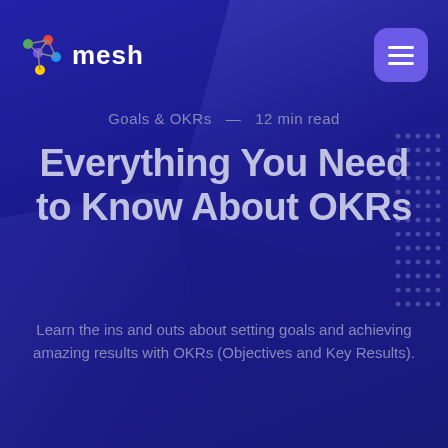[Figure (logo): Mesh logo with colorful node-and-edge icon and white 'mesh' wordmark]
Goals & OKRs  —  12 min read
Everything You Need to Know About OKRs
Learn the ins and outs about setting goals and achieving amazing results with OKRs (Objectives and Key Results).